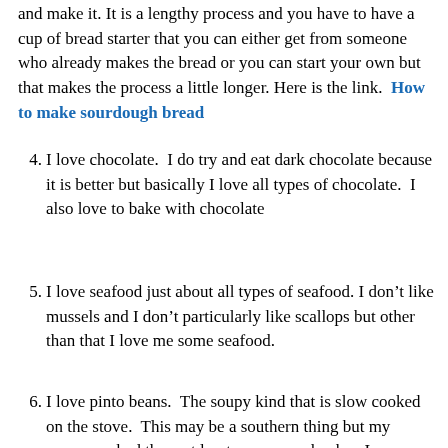and make it.  It is a lengthy process and you have to have a cup of bread starter that you can either get from someone who already makes the bread or you can start your own but that makes the process a little longer. Here is the link.  How to make sourdough bread
4. I love chocolate.  I do try and eat dark chocolate because it is better but basically I love all types of chocolate.  I also love to bake with chocolate
5. I love seafood just about all types of seafood. I don't like mussels and I don't particularly like scallops but other than that I love me some seafood.
6. I love pinto beans.  The soupy kind that is slow cooked on the stove.  This may be a southern thing but my mama cooked them at least once a week when I was growing up.   My husband is not crazy about them so I don't cook them a lot at home.